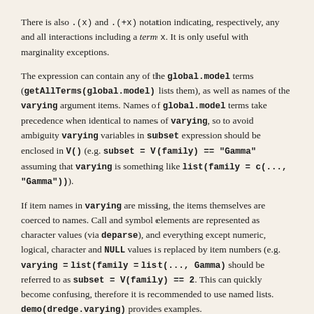There is also `.(x)` and `.(+x)` notation indicating, respectively, any and all interactions including a term `x`. It is only useful with marginality exceptions.
The expression can contain any of the `global.model` terms (`getAllTerms(global.model)` lists them), as well as names of the `varying` argument items. Names of `global.model` terms take precedence when identical to names of `varying`, so to avoid ambiguity `varying` variables in `subset` expression should be enclosed in `V()` (e.g. `subset = V(family) == "Gamma"` assuming that `varying` is something like `list(family = c(..., "Gamma"))`.
If item names in `varying` are missing, the items themselves are coerced to names. Call and symbol elements are represented as character values (via `deparse`), and everything except numeric, logical, character and `NULL` values is replaced by item numbers (e.g. `varying =` `list(family =` `list(..., Gamma)` should be referred to as `subset = V(family) == 2`. This can quickly become confusing, therefore it is recommended to use named lists. `demo(dredge.varying)` provides examples.
The `subset` expression can also contain variable ``*nvar*``